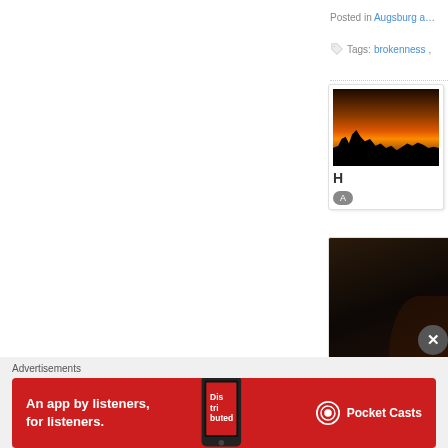Posted in Augsburg a…
Tags: brokenness,…
[Figure (photo): Thumbnail card showing sunset silhouette of trees against orange sky. Title starts with 'H'. Has a grey pill button.]
[Figure (photo): Large dark nighttime photo showing silhouette of trees against dark sky with faint warm glow at bottom right. Has a close (X) button overlay.]
Advertisements
[Figure (other): Red advertisement banner: 'An app by listeners, for listeners.' with phone image and Pocket Casts logo/text.]